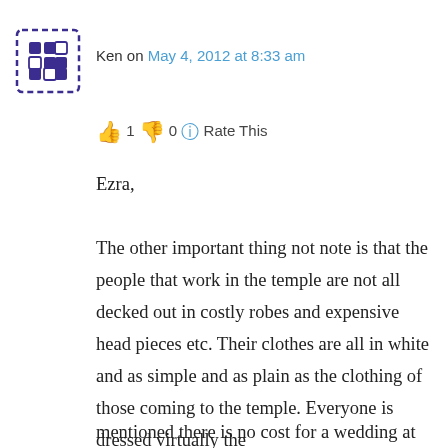[Figure (illustration): Avatar icon with dashed border and grid pattern in dark purple/blue]
Ken on May 4, 2012 at 8:33 am
👍 1 👎 0 ℹ Rate This
Ezra,

The other important thing not note is that the people that work in the temple are not all decked out in costly robes and expensive head pieces etc. Their clothes are all in white and as simple and as plain as the clothing of those coming to the temple. Everyone is dressed virtually the
Privacy & Cookies: This site uses cookies. By continuing to use this website, you agree to their use.
To find out more, including how to control cookies, see here: Cookie Policy
Close and accept
mentioned there is no cost for a wedding at the